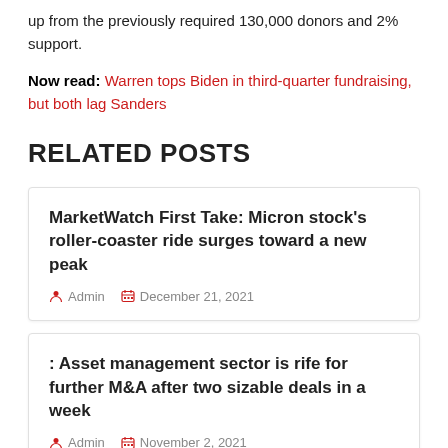up from the previously required 130,000 donors and 2% support.
Now read: Warren tops Biden in third-quarter fundraising, but both lag Sanders
RELATED POSTS
MarketWatch First Take: Micron stock’s roller-coaster ride surges toward a new peak
Admin  December 21, 2021
: Asset management sector is rife for further M&A after two sizable deals in a week
Admin  November 2, 2021